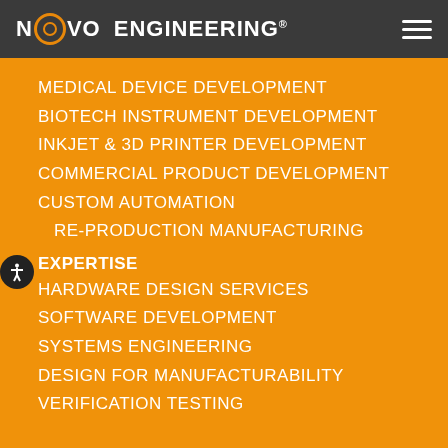NOVO ENGINEERING
MEDICAL DEVICE DEVELOPMENT
BIOTECH INSTRUMENT DEVELOPMENT
INKJET & 3D PRINTER DEVELOPMENT
COMMERCIAL PRODUCT DEVELOPMENT
CUSTOM AUTOMATION
PRE-PRODUCTION MANUFACTURING
EXPERTISE
HARDWARE DESIGN SERVICES
SOFTWARE DEVELOPMENT
SYSTEMS ENGINEERING
DESIGN FOR MANUFACTURABILITY
VERIFICATION TESTING